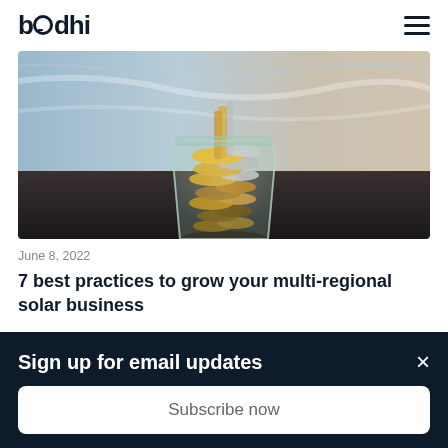bodhi (logo) | hamburger menu
[Figure (photo): A glass jar filled with coins (pennies, gold and silver coins) against a blurred blue-gray and brown marble/stone background. Coins are spilling and piled high in the jar.]
June 8, 2022
7 best practices to grow your multi-regional solar business
Sign up for email updates
Subscribe now